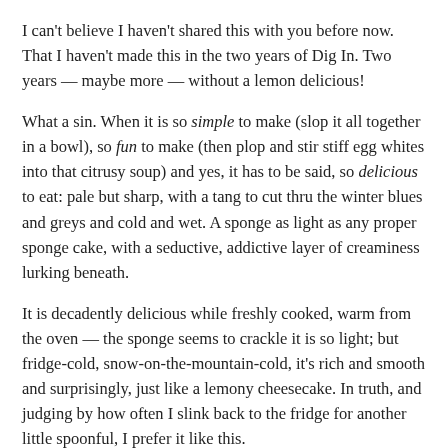I can't believe I haven't shared this with you before now. That I haven't made this in the two years of Dig In. Two years — maybe more — without a lemon delicious!
What a sin. When it is so simple to make (slop it all together in a bowl), so fun to make (then plop and stir stiff egg whites into that citrusy soup) and yes, it has to be said, so delicious to eat: pale but sharp, with a tang to cut thru the winter blues and greys and cold and wet. A sponge as light as any proper sponge cake, with a seductive, addictive layer of creaminess lurking beneath.
It is decadently delicious while freshly cooked, warm from the oven — the sponge seems to crackle it is so light; but fridge-cold, snow-on-the-mountain-cold, it's rich and smooth and surprisingly, just like a lemony cheesecake. In truth, and judging by how often I slink back to the fridge for another little spoonful, I prefer it like this.
There are lots of new recipes to get thru, but I hope it's not two years before I make this favourite pudding again.